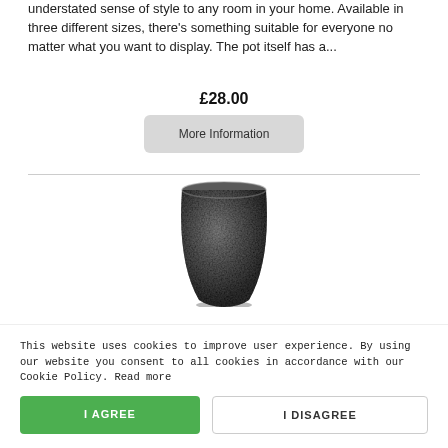understated sense of style to any room in your home. Available in three different sizes, there's something suitable for everyone no matter what you want to display. The pot itself has a...
£28.00
More Information
[Figure (photo): A dark grey textured ceramic pot/vase with a tapered shape, wider at the top and narrowing toward the base.]
This website uses cookies to improve user experience. By using our website you consent to all cookies in accordance with our Cookie Policy. Read more
I AGREE
I DISAGREE